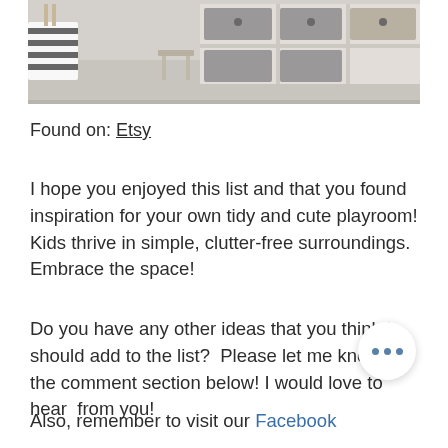[Figure (photo): Photo of children's room storage furniture: cubes with grey fabric bins, a small wooden stool, and a black-and-white patterned basket]
Found on: Etsy
I hope you enjoyed this list and that you found inspiration for your own tidy and cute playroom! Kids thrive in simple, clutter-free surroundings. Embrace the space!
Do you have any other ideas that you think I should add to the list?  Please let me know in the comment section below! I would love to hear  from you!
Also, remember to visit our Facebook